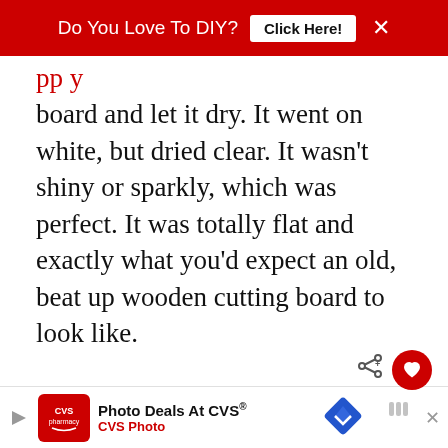Do You Love To DIY? [Click Here!] ×
board and let it dry. It went on white, but dried clear. It wasn't shiny or sparkly, which was perfect. It was totally flat and exactly what you'd expect an old, beat up wooden cutting board to look like.
[Figure (photo): Photo of a wooden cutting board with text overlay 'Exquisitely Un...' and a 'What's Next' overlay showing a Greeting Card Easter Banner thumbnail]
Photo Deals At CVS® CVS Photo [advertisement]